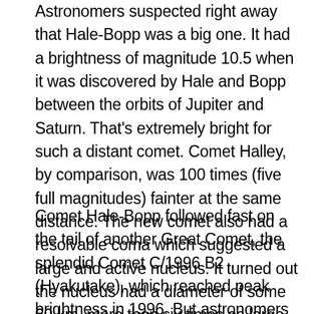Astronomers suspected right away that Hale-Bopp was a big one. It had a brightness of magnitude 10.5 when it was discovered by Hale and Bopp between the orbits of Jupiter and Saturn. That's extremely bright for such a distant comet. Comet Halley, by comparison, was 100 times (five full magnitudes) fainter at the same distance. The new comet also had a resolvable coma which suggested a large and active nucleus. It turned out the nucleus had a diameter of some 60 km, more than six times as large as the nucleus of Halley.
Comet Hale-Bopp followed fast on the tail of another Great Comet, the splendid Comet C/1996 B2 (Hyakutake), which reached peak brightness in 1996. But astronomers were cautious to declare that